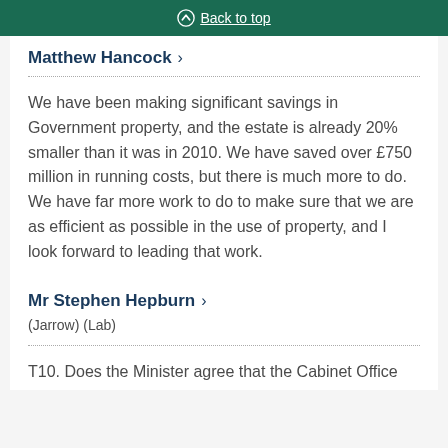Back to top
Matthew Hancock >
We have been making significant savings in Government property, and the estate is already 20% smaller than it was in 2010. We have saved over £750 million in running costs, but there is much more to do. We have far more work to do to make sure that we are as efficient as possible in the use of property, and I look forward to leading that work.
Mr Stephen Hepburn >
(Jarrow) (Lab)
T10. Does the Minister agree that the Cabinet Office